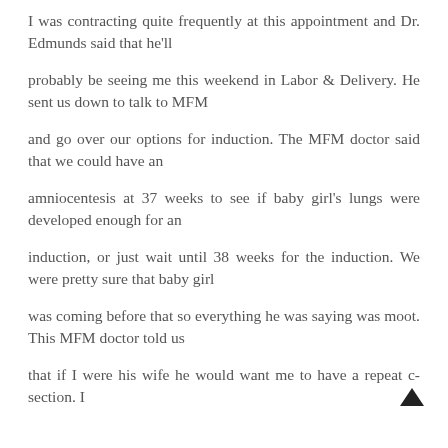I was contracting quite frequently at this appointment and Dr. Edmunds said that he'll
probably be seeing me this weekend in Labor & Delivery. He sent us down to talk to MFM
and go over our options for induction. The MFM doctor said that we could have an
amniocentesis at 37 weeks to see if baby girl's lungs were developed enough for an
induction, or just wait until 38 weeks for the induction. We were pretty sure that baby girl
was coming before that so everything he was saying was moot. This MFM doctor told us
that if I were his wife he would want me to have a repeat c-section. I